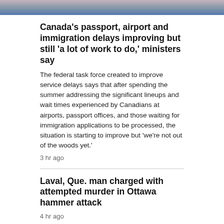[Figure (photo): Partial photo of people at the top of the page, cropped]
Canada's passport, airport and immigration delays improving but still 'a lot of work to do,' ministers say
The federal task force created to improve service delays says that after spending the summer addressing the significant lineups and wait times experienced by Canadians at airports, passport offices, and those waiting for immigration applications to be processed, the situation is starting to improve but 'we're not out of the woods yet.'
3 hr ago
Laval, Que. man charged with attempted murder in Ottawa hammer attack
4 hr ago
RCMP auctioning off Musical Ride-bred horses
3 hr ago